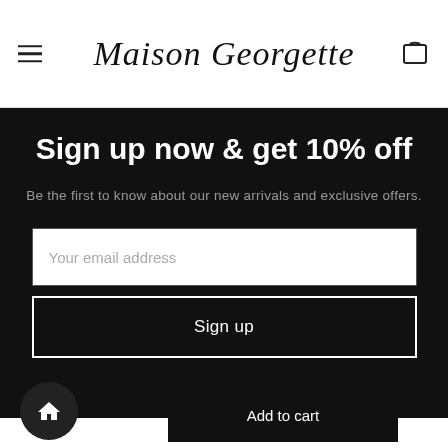Maison Georgette
Sign up now & get 10% off
Be the first to know about our new arrivals and exclusive offers.
Your email address
Sign up
Add to cart